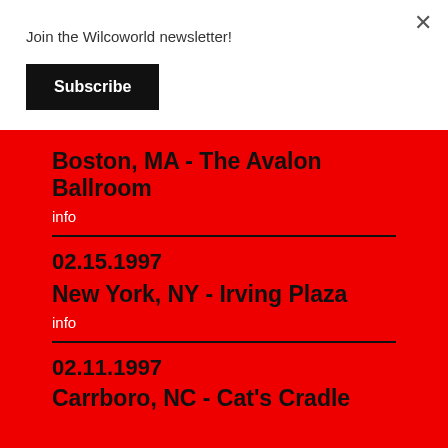Join the Wilcoworld newsletter!
Subscribe
Boston, MA - The Avalon Ballroom
info
02.15.1997
New York, NY - Irving Plaza
info
02.11.1997
Carrboro, NC - Cat's Cradle